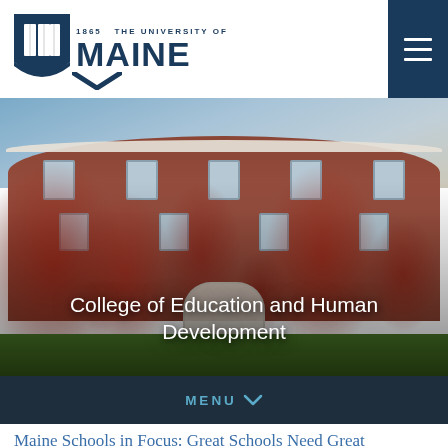[Figure (logo): University of Maine shield logo with '1865 THE UNIVERSITY OF' text above 'MAINE' in large bold navy letters]
[Figure (photo): A large brick academic building covered in red autumn ivy/vines, with white classical columns and arched entrance, photographed from a wide-angle lens with green lawn in foreground and blue sky above]
College of Education and Human Development
MENU
Maine Schools in Focus: Great Schools Need Great Teachers–What Can We